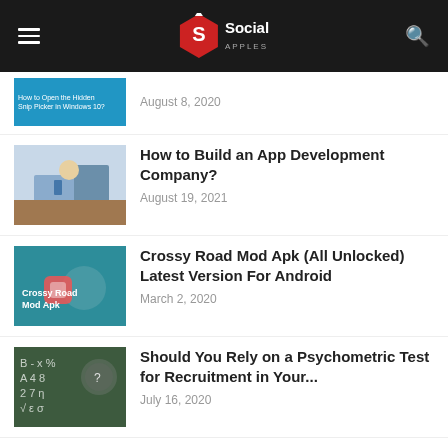Social Apples
August 8, 2020
How to Build an App Development Company?
August 19, 2021
Crossy Road Mod Apk (All Unlocked) Latest Version For Android
March 2, 2020
Should You Rely on a Psychometric Test for Recruitment in Your...
July 16, 2020
TVMC Apk Download Latest Version For Android & Windows
August 8, 2019